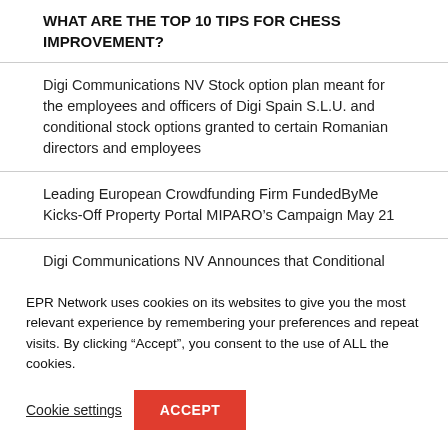WHAT ARE THE TOP 10 TIPS FOR CHESS IMPROVEMENT?
Digi Communications NV Stock option plan meant for the employees and officers of Digi Spain S.L.U. and conditional stock options granted to certain Romanian directors and employees
Leading European Crowdfunding Firm FundedByMe Kicks-Off Property Portal MIPARO’s Campaign May 21
Digi Communications NV Announces that Conditional stock options were granted to several Directors of the
EPR Network uses cookies on its websites to give you the most relevant experience by remembering your preferences and repeat visits. By clicking “Accept”, you consent to the use of ALL the cookies.
Cookie settings
ACCEPT